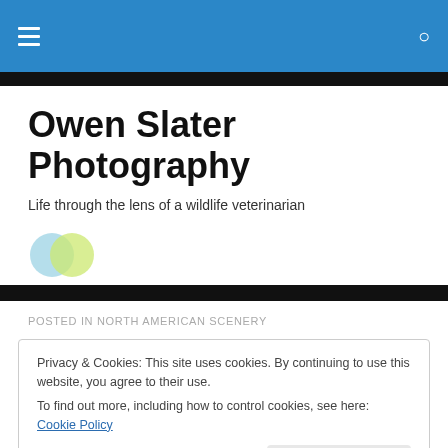Owen Slater Photography — site navigation header with hamburger menu and search icon
Owen Slater Photography
Life through the lens of a wildlife veterinarian
[Figure (logo): Two overlapping circles logo: light blue circle on left, yellow-green circle on right]
POSTED IN NORTH AMERICAN SCENERY
Privacy & Cookies: This site uses cookies. By continuing to use this website, you agree to their use.
To find out more, including how to control cookies, see here: Cookie Policy
Close and accept